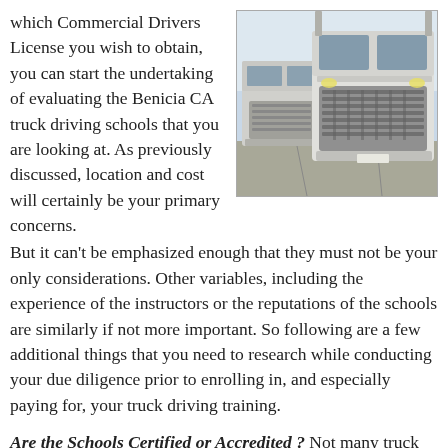which Commercial Drivers License you wish to obtain, you can start the undertaking of evaluating the Benicia CA truck driving schools that you are looking at. As previously discussed, location and cost will certainly be your primary concerns. But it can't be emphasized enough that they must not be your only considerations. Other variables, including the experience of the instructors or the reputations of the schools are similarly if not more important. So following are a few additional things that you need to research while conducting your due diligence prior to enrolling in, and especially paying for, your truck driving training.
[Figure (photo): Two large white semi-trucks parked in a lot, front-facing view showing grilles and hoods.]
Are the Schools Certified or Accredited ? Not many truck driving schools in the Benicia CA area are accredited due to the demanding process and expense